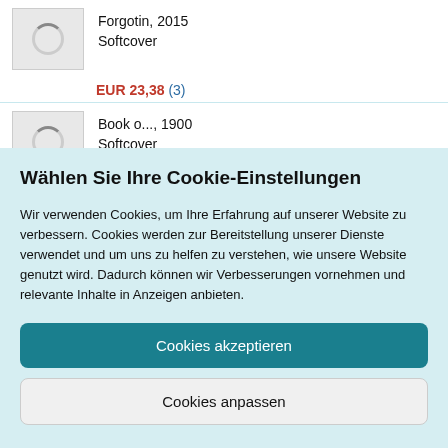Forgotin, 2015
Softcover
EUR 23,38 (3)
Book o..., 1900
Softcover
Wählen Sie Ihre Cookie-Einstellungen
Wir verwenden Cookies, um Ihre Erfahrung auf unserer Website zu verbessern. Cookies werden zur Bereitstellung unserer Dienste verwendet und um uns zu helfen zu verstehen, wie unsere Website genutzt wird. Dadurch können wir Verbesserungen vornehmen und relevante Inhalte in Anzeigen anbieten.
Cookies akzeptieren
Cookies anpassen